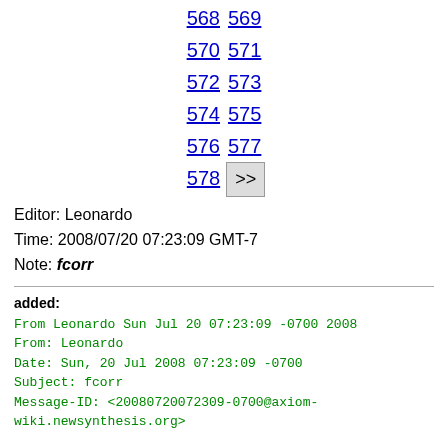568 569 570 571 572 573 574 575 576 577 578 >>
Editor: Leonardo
Time: 2008/07/20 07:23:09 GMT-7
Note: fcorr
added:
From Leonardo Sun Jul 20 07:23:09 -0700 2008
From: Leonardo
Date: Sun, 20 Jul 2008 07:23:09 -0700
Subject: fcorr
Message-ID: <20080720072309-0700@axiom-wiki.newsynthesis.org>

guess([-1/3,-11/25,-23/49,-13/27,-59/121,-83/169],[guessRat],[guessSum,guessProduct],maxLevel==2)
This page makes test uses of the guessing package by Martin Rubey. Feel free to add new sequences or